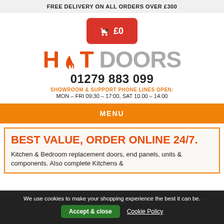FREE DELIVERY ON ALL ORDERS OVER £300
[Figure (illustration): Red rounded-rectangle cart button showing shopping cart icon with '0' badge and '£0' text]
[Figure (logo): HotDoors logo: 'HOT' in orange with flame icon, 'DOORS' in grey]
01279 883 099
SHOWROOM & SUPPORT PHONE LINES OPEN:
MON – FRI 09:30 – 17:00, SAT 10.00 – 14.00
MENU
BEST VALUE, ORDER ONLINE 24/7.
Kitchen & Bedroom replacement doors, end panels, units & components. Also complete Kitchens &
We use cookies to make your shopping experience the best it can be.
Accept & close
Cookie Policy